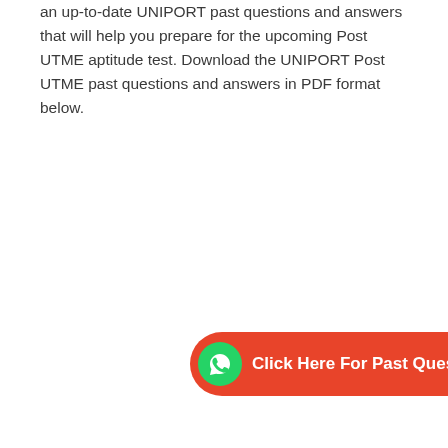an up-to-date UNIPORT past questions and answers that will help you prepare for the upcoming Post UTME aptitude test. Download the UNIPORT Post UTME past questions and answers in PDF format below.
[Figure (other): Orange rounded button with WhatsApp icon on the left and white bold text 'Click Here For Past Questions']